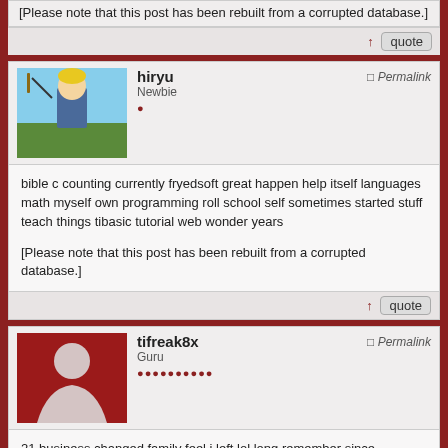[Please note that this post has been rebuilt from a corrupted database.]
↑ quote
hiryu
Newbie
Permalink
bible c counting currently fryedsoft great happen help itself languages math myself own programming roll school self sometimes started stuff teach things tibasic tutorial web wonder years

[Please note that this post has been rebuilt from a corrupted database.]
↑ quote
tifreak8x
Guru
Permalink
21 business changed family feel i left lol long remember since understand working

[Please note that this post has been rebuilt from a corrupted database.]
↑ quote
hiryu
Newbie
Permalink